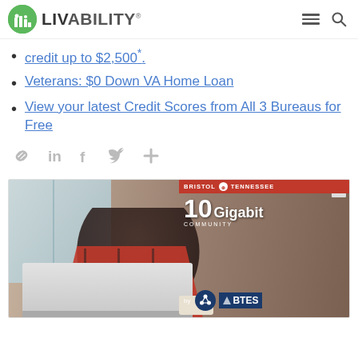LIVABILITY
credit up to $2,500*.
Veterans: $0 Down VA Home Loan
View your latest Credit Scores from All 3 Bureaus for Free
[Figure (screenshot): Social sharing icons row: link, LinkedIn, Facebook, Twitter, plus]
[Figure (photo): Advertisement: Man in red plaid shirt working on laptop at home with Bristol Tennessee 10 Gigabit Community by BTES overlay]